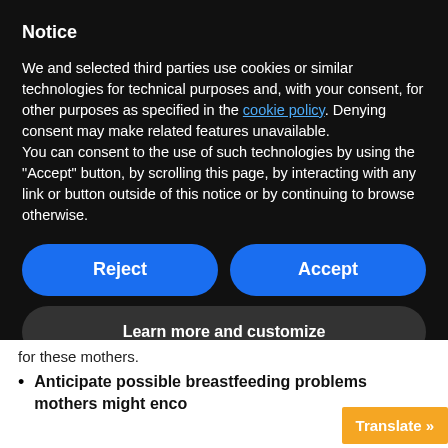Notice
We and selected third parties use cookies or similar technologies for technical purposes and, with your consent, for other purposes as specified in the cookie policy. Denying consent may make related features unavailable.
You can consent to the use of such technologies by using the “Accept” button, by scrolling this page, by interacting with any link or button outside of this notice or by continuing to browse otherwise.
[Figure (screenshot): Two blue rounded buttons: 'Reject' and 'Accept', and a dark rounded button 'Learn more and customize']
for these mothers.
Anticipate possible breastfeeding problems mothers might enco...